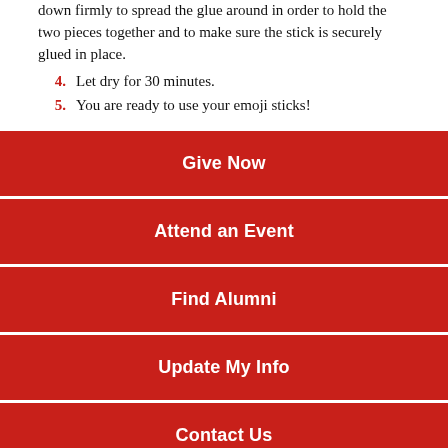down firmly to spread the glue around in order to hold the two pieces together and to make sure the stick is securely glued in place.
4. Let dry for 30 minutes.
5. You are ready to use your emoji sticks!
Give Now
Attend an Event
Find Alumni
Update My Info
Contact Us